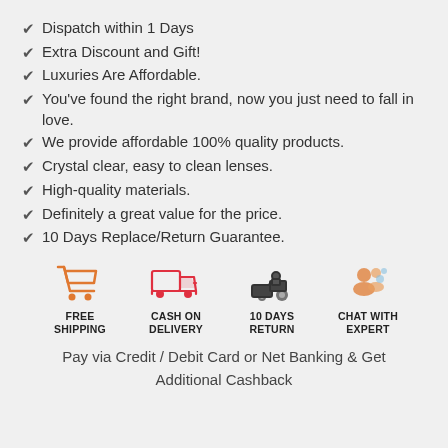Dispatch within 1 Days
Extra Discount and Gift!
Luxuries Are Affordable.
You've found the right brand, now you just need to fall in love.
We provide affordable 100% quality products.
Crystal clear, easy to clean lenses.
High-quality materials.
Definitely a great value for the price.
10 Days Replace/Return Guarantee.
[Figure (infographic): Four icons in a row: FREE SHIPPING (orange shopping cart), CASH ON DELIVERY (red delivery truck), 10 DAYS RETURN (dark tractor/vehicle), CHAT WITH EXPERT (orange figures/chat)]
Pay via Credit / Debit Card or Net Banking & Get Additional Cashback